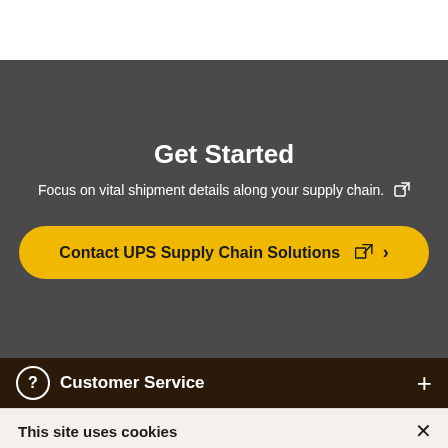Get Started
Focus on vital shipment details along your supply chain.
Contact UPS Supply Chain Solutions
Customer Service
This site uses cookies
By continuing, you consent to our use of cookies. To learn more or set your preferences, click on the Cookie Settings link in the footer of any page.